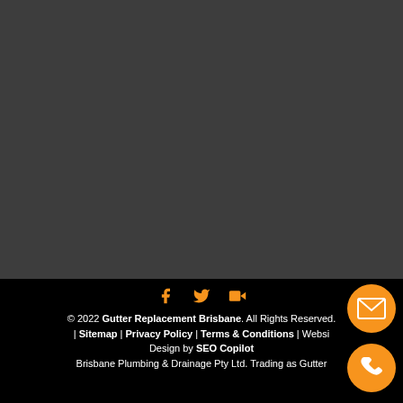[Figure (other): Dark gray background section filling top portion of page]
© 2022 Gutter Replacement Brisbane. All Rights Reserved.
| Sitemap | Privacy Policy | Terms & Conditions | Website Design by SEO Copilot
Brisbane Plumbing & Drainage Pty Ltd. Trading as Gutter